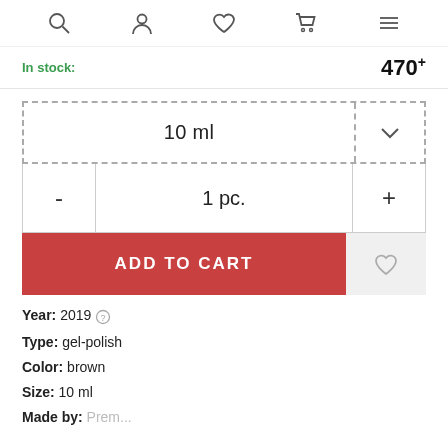Navigation icons: search, account, wishlist, cart, menu
In stock:  470+
10 ml
- 1 pc. +
ADD TO CART
Year: 2019
Type: gel-polish
Color: brown
Size: 10 ml
Made by: Premium...